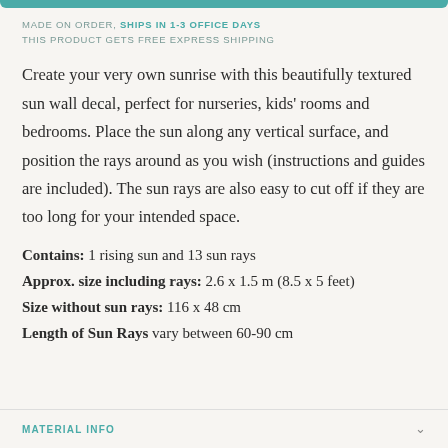MADE ON ORDER, SHIPS IN 1-3 OFFICE DAYS
THIS PRODUCT GETS FREE EXPRESS SHIPPING
Create your very own sunrise with this beautifully textured sun wall decal, perfect for nurseries, kids' rooms and bedrooms. Place the sun along any vertical surface, and position the rays around as you wish (instructions and guides are included). The sun rays are also easy to cut off if they are too long for your intended space.
Contains: 1 rising sun and 13 sun rays
Approx. size including rays: 2.6 x 1.5 m (8.5 x 5 feet)
Size without sun rays: 116 x 48 cm
Length of Sun Rays vary between 60-90 cm
MATERIAL INFO